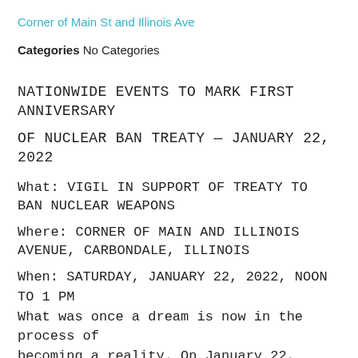Corner of Main St and Illinois Ave
Categories No Categories
NATIONWIDE EVENTS TO MARK FIRST ANNIVERSARY OF NUCLEAR BAN TREATY — JANUARY 22, 2022
What: VIGIL IN SUPPORT OF TREATY TO BAN NUCLEAR WEAPONS
Where: CORNER OF MAIN AND ILLINOIS AVENUE, CARBONDALE, ILLINOIS
When: SATURDAY, JANUARY 22, 2022, NOON TO 1 PM What was once a dream is now in the process of becoming a reality. On January 22, 2021, the Treaty on